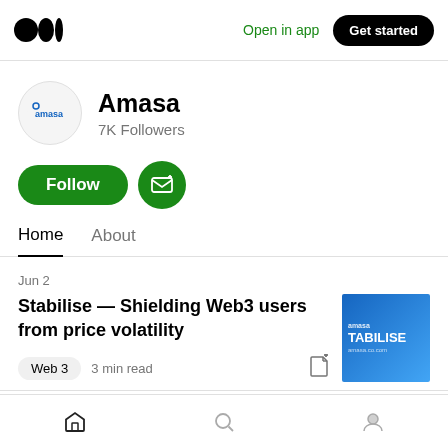Open in app  Get started
Amasa
7K Followers
Follow
Home  About
Jun 2
Stabilise — Shielding Web3 users from price volatility
Web 3  3 min read
[Figure (screenshot): Thumbnail image for article showing blue background with text TABILISE]
Home  Search  Profile